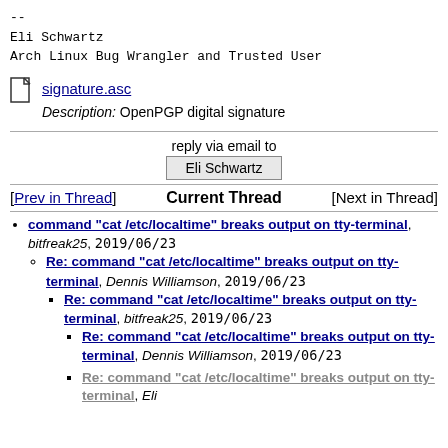--
Eli Schwartz
Arch Linux Bug Wrangler and Trusted User
[Figure (other): File attachment icon for signature.asc]
signature.asc
Description: OpenPGP digital signature
reply via email to
Eli Schwartz
[Prev in Thread]   Current Thread   [Next in Thread]
command "cat /etc/localtime" breaks output on tty-terminal, bitfreak25, 2019/06/23
Re: command "cat /etc/localtime" breaks output on tty-terminal, Dennis Williamson, 2019/06/23
Re: command "cat /etc/localtime" breaks output on tty-terminal, bitfreak25, 2019/06/23
Re: command "cat /etc/localtime" breaks output on tty-terminal, Dennis Williamson, 2019/06/23
Re: command "cat /etc/localtime" breaks output on tty-terminal, Eli